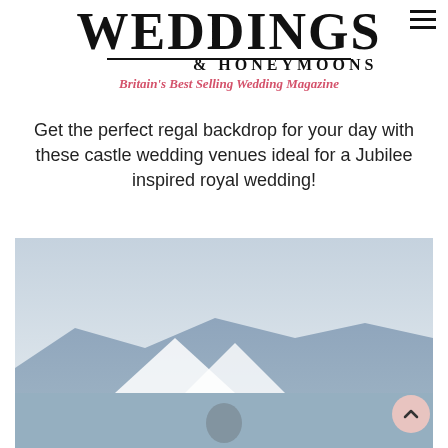WEDDINGS & HONEYMOONS
Britain's Best Selling Wedding Magazine
Get the perfect regal backdrop for your day with these castle wedding venues ideal for a Jubilee inspired royal wedding!
[Figure (photo): Outdoor wedding scene with a light blue sky and mountain backdrop, showing a couple at what appears to be a castle or elevated venue.]